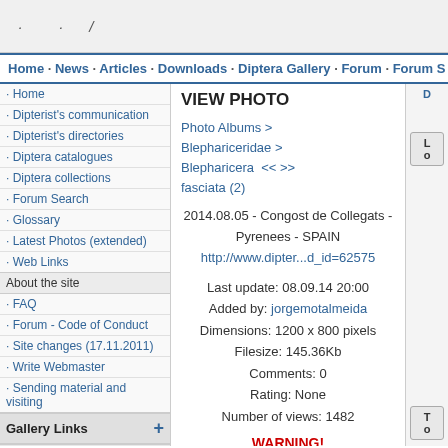[Figure (screenshot): Top banner area with faint text/logo marks]
Home · News · Articles · Downloads · Diptera Gallery · Forum · Forum S
· Home
· Dipterist's communication
· Dipterist's directories
· Diptera catalogues
· Diptera collections
· Forum Search
· Glossary
· Latest Photos (extended)
· Web Links
About the site
· FAQ
· Forum - Code of Conduct
· Site changes (17.11.2011)
· Write Webmaster
· Sending material and visiting
Gallery Links
Users Online
VIEW PHOTO
Photo Albums > Blephariceridae > Blepharicera fasciata (2)  << >>
2014.08.05 - Congost de Collegats - Pyrenees - SPAIN
http://www.dipter...d_id=62575
Last update: 08.09.14 20:00
Added by: jorgemotalmeida
Dimensions: 1200 x 800 pixels
Filesize: 145.36Kb
Comments: 0
Rating: None
Number of views: 1482
WARNING!
Report any errors in this Gallery at